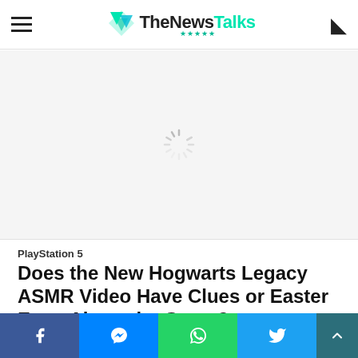TheNewsTalks
[Figure (screenshot): Loading spinner on white background, indicating an image is being loaded]
PlayStation 5
Does the New Hogwarts Legacy ASMR Video Have Clues or Easter Eggs About the Game?
Social share bar: Facebook, Messenger, WhatsApp, Twitter, Scroll to top